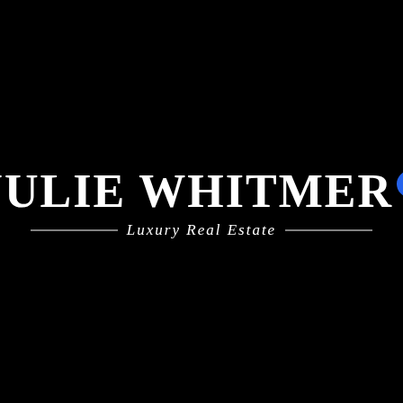[Figure (logo): Julie Whitmer Luxury Real Estate logo. Large white serif bold text 'JULIE WHITMER' with a blue accessibility icon (person with arms out) as a superscript circle after the name. Below, a horizontal rule with 'Luxury Real Estate' centered in italic serif white text, on a solid black background.]